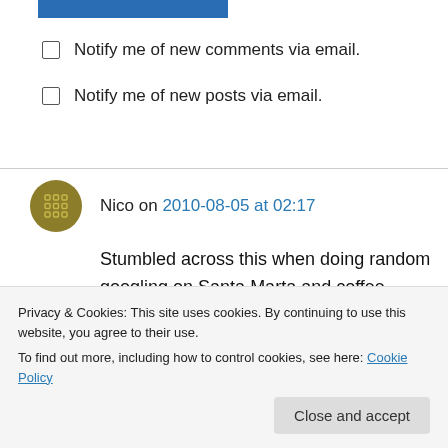[Figure (other): Blue submit button (partial)]
Notify me of new comments via email.
Notify me of new posts via email.
Nico on 2010-08-05 at 02:17
Stumbled across this when doing random googling on Santa Marta and coffee. Sorry to say that this is some absolute rubbish written here. I have been to both sites and by far the
Privacy & Cookies: This site uses cookies. By continuing to use this website, you agree to their use.
To find out more, including how to control cookies, see here: Cookie Policy
Close and accept
the fairest, none of them have graded by the